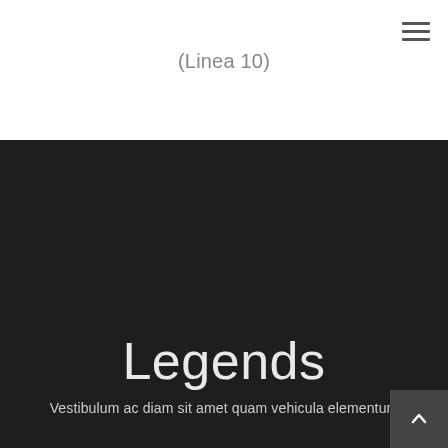(Linea 10)
Legends
Vestibulum ac diam sit amet quam vehicula elementum
[Figure (other): Broken/null image placeholder with green icon fragment]
Back to top arrow button